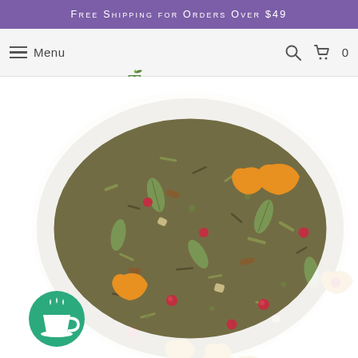Free Shipping for Orders Over $49
Menu | Tealightful® | Search | Cart 0
[Figure (photo): Close-up overhead photo of a loose-leaf tea blend pile with orange/turmeric pieces, green cardamom pods, red peppercorns, and mixed herbs and spices on a white background]
[Figure (logo): Round green icon with a steaming tea cup illustration]